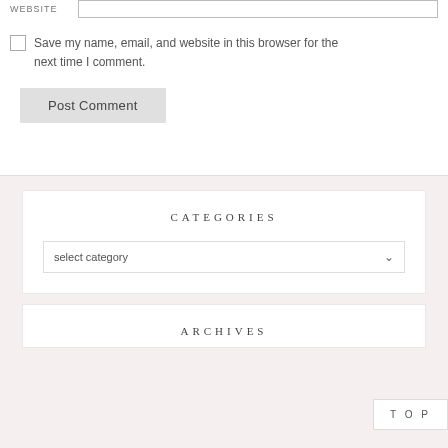Save my name, email, and website in this browser for the next time I comment.
Post Comment
CATEGORIES
select category
ARCHIVES
TOP